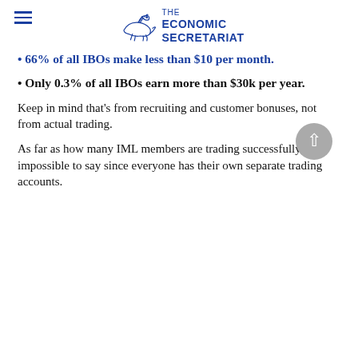THE ECONOMIC SECRETARIAT
66% of all IBOs make less than $10 per month.
Only 0.3% of all IBOs earn more than $30k per year.
Keep in mind that’s from recruiting and customer bonuses, not from actual trading.
As far as how many IML members are trading successfully, it’s impossible to say since everyone has their own separate trading accounts.